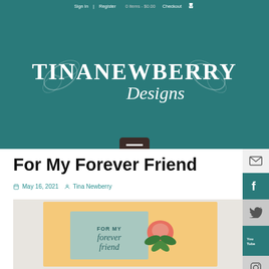Sign In | Register   0 items - $0.00   Checkout
[Figure (logo): TinaNewberry Designs logo with decorative leaf motifs on teal background]
[Figure (other): Hamburger/menu button with three horizontal lines on dark brown rounded rectangle]
For My Forever Friend
May 16, 2021   Tina Newberry
[Figure (photo): Handmade greeting card with 'FOR MY forever friend' text and floral decorations on a peach/yellow background]